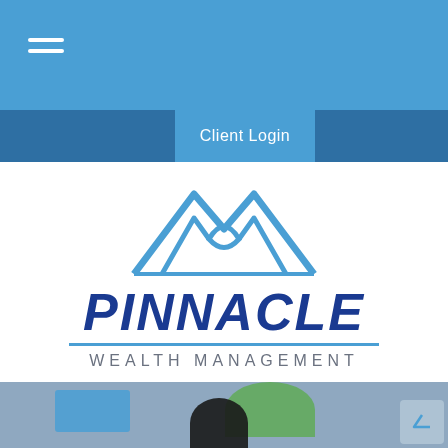[Figure (screenshot): Navigation bar with hamburger menu icon (three horizontal white lines) on blue background]
Client Login
[Figure (logo): Pinnacle Wealth Management logo: blue mountain/peak geometric icon above the word PINNACLE in bold dark blue italic text, a blue horizontal line, and WEALTH MANAGEMENT in gray spaced capitals]
[Figure (photo): Partial photo at bottom showing office setting with blue screens, a plant, and the top of a person's head]